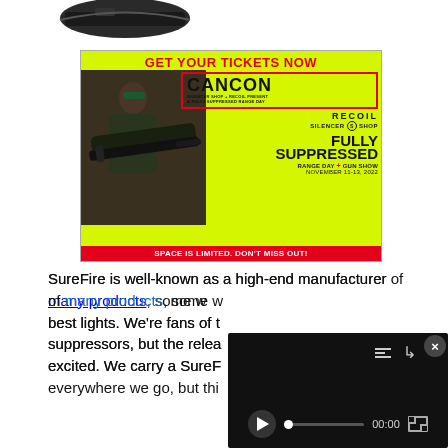[Figure (photo): Partial view of a dark product (firearm accessory/suppressor) at top of page]
[Figure (illustration): Advertisement banner for CANCON event: GET YOUR TICKETS NOW / CANCON / SILENCER SHOP + RECOIL PRESENT A FULLY SUPPRESSED RANGE DAY / RECOIL / SILENCER SHOP / FULLY SUPPRESSED / RANGE DAY + GUN SHOW / NOVEMBER 11-13, 2022 / SPACE IS LIMITED. DON'T MISS OUT! Yellow background with person holding suppressed rifle.]
SureFire is well-known as a high-end manufacturer of many products, some w... best lights. We're fans of t... suppressors, but the relea... excited. We carry a SureF... everywhere we go, but thi...
[Figure (screenshot): Video player overlay showing playback controls: play button, progress bar at 0:00, fullscreen button, list and share icons, close (x) button]